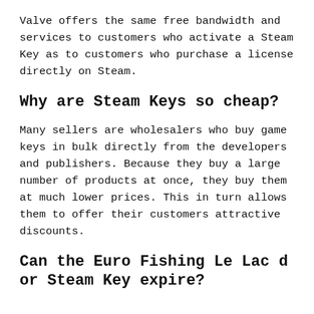Valve offers the same free bandwidth and services to customers who activate a Steam Key as to customers who purchase a license directly on Steam.
Why are Steam Keys so cheap?
Many sellers are wholesalers who buy game keys in bulk directly from the developers and publishers. Because they buy a large number of products at once, they buy them at much lower prices. This in turn allows them to offer their customers attractive discounts.
Can the Euro Fishing Le Lac d or Steam Key expire?